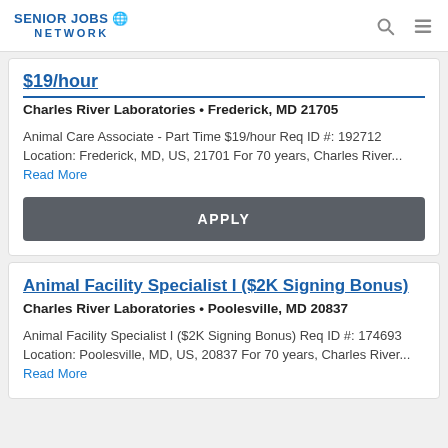SENIOR JOBS NETWORK
$19/hour
Charles River Laboratories • Frederick, MD 21705
Animal Care Associate - Part Time $19/hour Req ID #: 192712 Location: Frederick, MD, US, 21701 For 70 years, Charles River... Read More
APPLY
Animal Facility Specialist I ($2K Signing Bonus)
Charles River Laboratories • Poolesville, MD 20837
Animal Facility Specialist I ($2K Signing Bonus) Req ID #: 174693 Location: Poolesville, MD, US, 20837 For 70 years, Charles River... Read More